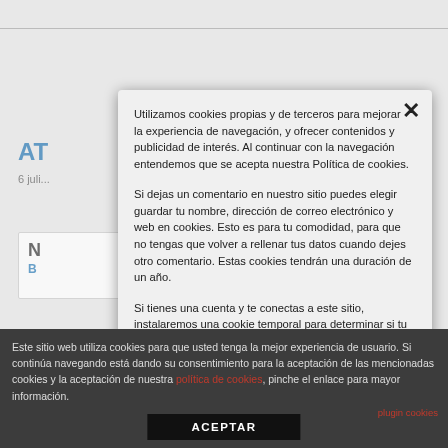[Figure (screenshot): Website background with article listings partially visible behind cookie consent modal]
Utilizamos cookies propias y de terceros para mejorar la experiencia de navegación, y ofrecer contenidos y publicidad de interés. Al continuar con la navegación entendemos que se acepta nuestra Política de cookies.
Si dejas un comentario en nuestro sitio puedes elegir guardar tu nombre, dirección de correo electrónico y web en cookies. Esto es para tu comodidad, para que no tengas que volver a rellenar tus datos cuando dejes otro comentario. Estas cookies tendrán una duración de un año.
Si tienes una cuenta y te conectas a este sitio, instalaremos una cookie temporal para determinar si tu navegador acepta cookies. Esta cookie no contiene datos personales y se elimina al cerrar el navegador. Cuando accedas, también instalaremos varias cookies para guardar tu información de acceso y tus opciones de visualización de pantalla. Las cookies de acceso duran dos días, y las cookies de opciones de pantalla duran un año. Si seleccionas «Recuérdarme», tu acceso perdurará durante dos semanas. Si sales de tu cuenta, las cookies de
Este sitio web utiliza cookies para que usted tenga la mejor experiencia de usuario. Si continúa navegando está dando su consentimiento para la aceptación de las mencionadas cookies y la aceptación de nuestra política de cookies, pinche el enlace para mayor información.
plugin cookies
ACEPTAR